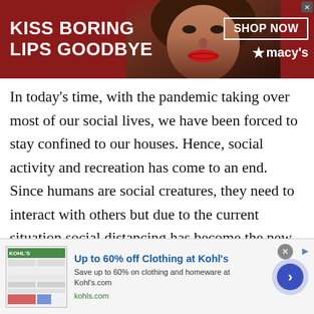[Figure (screenshot): Macy's advertisement banner with dark red background, woman's face with red lipstick, text 'KISS BORING LIPS GOODBYE', 'SHOP NOW' button, and Macy's star logo]
In today’s time, with the pandemic taking over most of our social lives, we have been forced to stay confined to our houses. Hence, social activity and recreation has come to an end. Since humans are social creatures, they need to interact with others but due to the current situation social distancing has become the new norm and meeting new people outside your home has become nearly impossible.
At Talkwithstranger, we allow people to use our platform and make new friends. Our private chat rooms allow you
[Figure (screenshot): Kohl's advertisement: 'Up to 60% off Clothing at Kohl’s', 'Save up to 60% on clothing and homeware at Kohl’s.com', kohls.com, with thumbnail image and arrow CTA button]